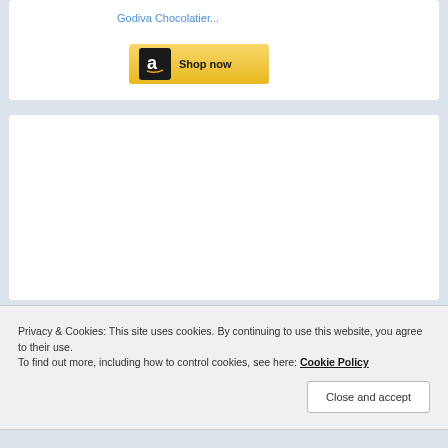[Figure (screenshot): Partial Amazon product card showing 'Godiva Chocolatier...' link in blue and a yellow 'Shop now' button with Amazon logo]
[Figure (screenshot): White content card area, mostly blank]
Privacy & Cookies: This site uses cookies. By continuing to use this website, you agree to their use.
To find out more, including how to control cookies, see here: Cookie Policy
Close and accept